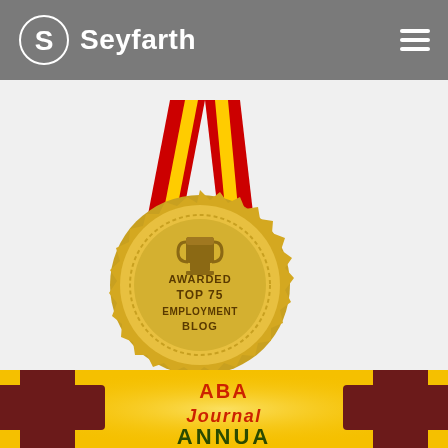[Figure (logo): Seyfarth law firm logo with stylized S icon and firm name in white on gray header bar, with hamburger menu icon on right]
[Figure (illustration): Gold medal with red ribbon awarded Top 75 Employment Blog, featuring a trophy icon and dotted border ring]
[Figure (illustration): ABA Journal Annual award badge/logo on yellow/golden background with dark red cross shapes]